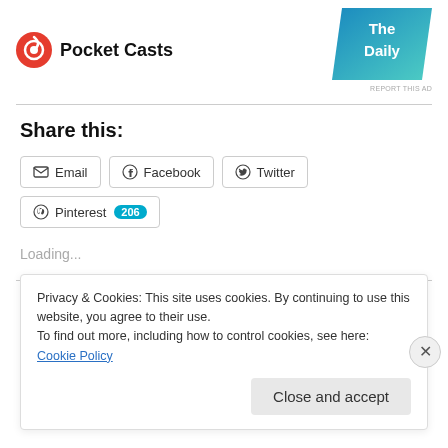[Figure (logo): Pocket Casts logo with circular red icon and text 'Pocket Casts']
[Figure (illustration): The Daily podcast ad image with teal/blue diagonal banner]
REPORT THIS AD
Share this:
Email | Facebook | Twitter | Pinterest 206
Loading...
Related
Privacy & Cookies: This site uses cookies. By continuing to use this website, you agree to their use.
To find out more, including how to control cookies, see here: Cookie Policy
Close and accept